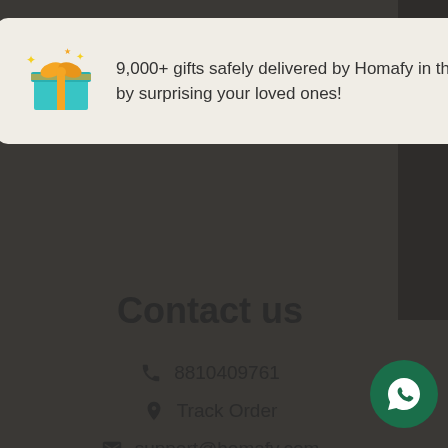[Figure (screenshot): Popup notification card with gift box icon on a light beige background showing delivery message from Homafy]
9,000+ gifts safely delivered by Homafy in the last week! by surprising your loved ones!
e look
Contact us
8810409761
Track Order
support@homafy.com
www.homafy.com
[Figure (illustration): WhatsApp circular green button with phone icon]